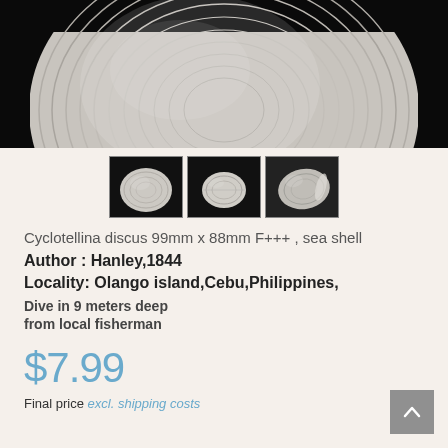[Figure (photo): Close-up photo of a white/cream colored sea shell (Cyclotellina discus) with concentric ridges against a dark/black background — main product image]
[Figure (photo): Three thumbnail images of the sea shell (Cyclotellina discus) showing different views — front, side, and angled — against dark backgrounds]
Cyclotellina discus 99mm x 88mm F+++ , sea shell
Author : Hanley,1844
Locality: Olango island,Cebu,Philippines,
Dive in 9 meters deep
from local fisherman
$7.99
Final price excl. shipping costs